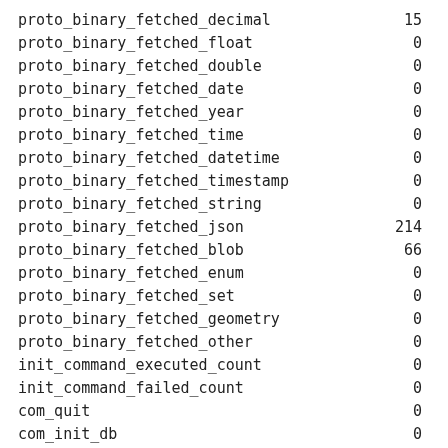| name | value |
| --- | --- |
| proto_binary_fetched_decimal | 15 |
| proto_binary_fetched_float | 0 |
| proto_binary_fetched_double | 0 |
| proto_binary_fetched_date | 0 |
| proto_binary_fetched_year | 0 |
| proto_binary_fetched_time | 0 |
| proto_binary_fetched_datetime | 0 |
| proto_binary_fetched_timestamp | 0 |
| proto_binary_fetched_string | 0 |
| proto_binary_fetched_json | 214 |
| proto_binary_fetched_blob | 66 |
| proto_binary_fetched_enum | 0 |
| proto_binary_fetched_set | 0 |
| proto_binary_fetched_geometry | 0 |
| proto_binary_fetched_other | 0 |
| init_command_executed_count | 0 |
| init_command_failed_count | 0 |
| com_quit | 0 |
| com_init_db | 0 |
| com_query | 2 |
| com_field_list | 0 |